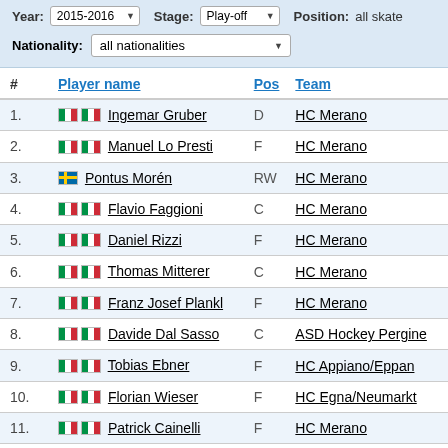| # | Player name | Pos | Team |
| --- | --- | --- | --- |
| 1. | Ingemar Gruber | D | HC Merano |
| 2. | Manuel Lo Presti | F | HC Merano |
| 3. | Pontus Morén | RW | HC Merano |
| 4. | Flavio Faggioni | C | HC Merano |
| 5. | Daniel Rizzi | F | HC Merano |
| 6. | Thomas Mitterer | C | HC Merano |
| 7. | Franz Josef Plankl | F | HC Merano |
| 8. | Davide Dal Sasso | C | ASD Hockey Pergine |
| 9. | Tobias Ebner | F | HC Appiano/Eppan |
| 10. | Florian Wieser | F | HC Egna/Neumarkt |
| 11. | Patrick Cainelli | F | HC Merano |
| 12. | Stefano Riva | F | ASD Hockey Pergine |